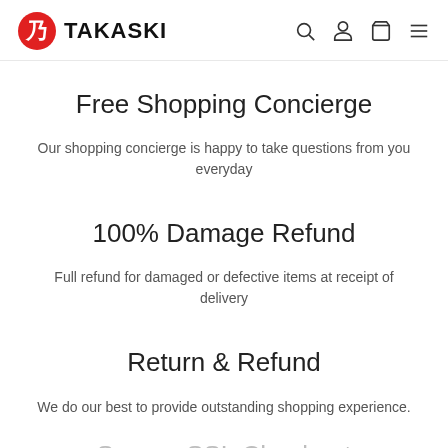TAKASKI
Free Shopping Concierge
Our shopping concierge is happy to take questions from you everyday
100% Damage Refund
Full refund for damaged or defective items at receipt of delivery
Return & Refund
We do our best to provide outstanding shopping experience.
Secure SSL Checkout